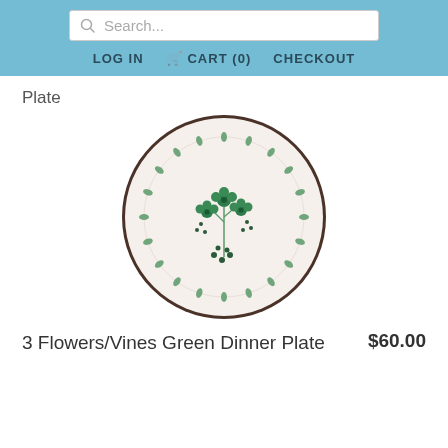Search... LOG IN CART (0) CHECKOUT
Plate
[Figure (photo): A ceramic dinner plate with cream/off-white background, featuring green painted floral and vine decoration — three flowers with vines and small berries in the center, and a garland of small green leaves around the rim. The plate has a dark rustic edge.]
3 Flowers/Vines Green Dinner Plate   $60.00